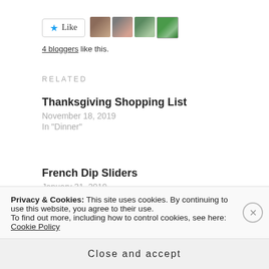[Figure (other): Like button with star icon and 4 blogger avatar thumbnails]
4 bloggers like this.
RELATED
Thanksgiving Shopping List
November 18, 2019
In "Dinner"
French Dip Sliders
January 31, 2019
In "Dinner"
Fig-glazed Bacon Sticky Knots
Privacy & Cookies: This site uses cookies. By continuing to use this website, you agree to their use.
To find out more, including how to control cookies, see here: Cookie Policy
Close and accept